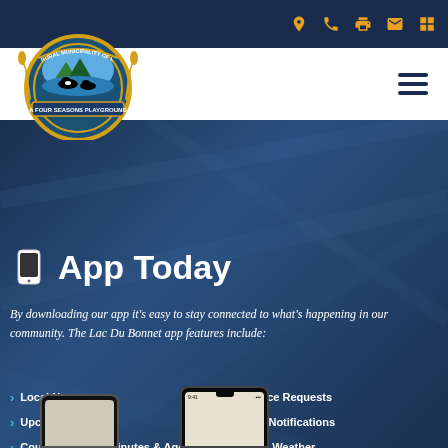[Figure (logo): Rural Municipality of Lac Du Bonnet circular seal - A Four Seasons Playground]
Rural Municipality of Lac Du Bonnet website header with navigation icons and hamburger menu
App Today
By downloading our app it's easy to stay connected to what's happening in our community. The Lac Du Bonnet app features include:
Local News
Upcoming Events
Council Meeting Minutes & Agendas
Service Requests
Alert Notifications
Local Weather
[Figure (screenshot): GET IT ON Google Play button (orange/gold)]
[Figure (screenshot): Download on the App Store button (orange/gold)]
[Figure (photo): Smartphone mockups at the bottom of the page showing the app]